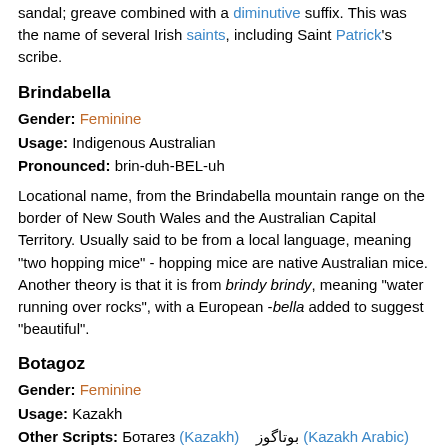sandal; greave combined with a diminutive suffix. This was the name of several Irish saints, including Saint Patrick's scribe.
Brindabella
Gender: Feminine
Usage: Indigenous Australian
Pronounced: brin-duh-BEL-uh
Locational name, from the Brindabella mountain range on the border of New South Wales and the Australian Capital Territory. Usually said to be from a local language, meaning "two hopping mice" - hopping mice are native Australian mice. Another theory is that it is from brindy brindy, meaning "water running over rocks", with a European -bella added to suggest "beautiful".
Botagoz
Gender: Feminine
Usage: Kazakh
Other Scripts: Ботагез (Kazakh)  بوتاگوز (Kazakh Arabic)
Pronounced: bo-tah-GUUZ
From Kazakh бота (bota) meaning "camel calf, colt" and көз